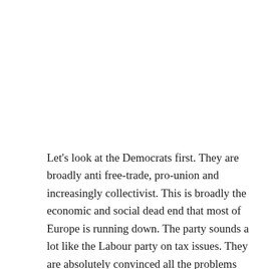Let's look at the Democrats first. They are broadly anti free-trade, pro-union and increasingly collectivist. This is broadly the economic and social dead end that most of Europe is running down. The party sounds a lot like the Labour party on tax issues. They are absolutely convinced all the problems could be solved by extending taxes on 'the Rich', who are to blame for substantially all the economic problems of the country. They have the same punk Keynesian headbangers as